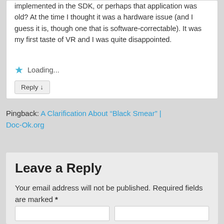implemented in the SDK, or perhaps that application was old? At the time I thought it was a hardware issue (and I guess it is, though one that is software-correctable). It was my first taste of VR and I was quite disappointed.
Loading...
Reply ↓
Pingback: A Clarification About “Black Smear” | Doc-Ok.org
Leave a Reply
Your email address will not be published. Required fields are marked *